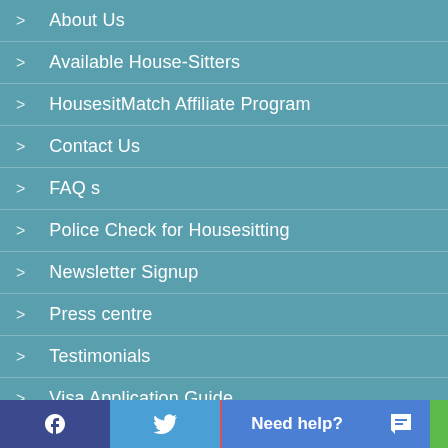About Us
Available House-Sitters
HousesitMatch Affiliate Program
Contact Us
FAQ s
Police Check for Housesitting
Newsletter Signup
Press centre
Testimonials
Visa Application Guide
Terms of Use
Need help?